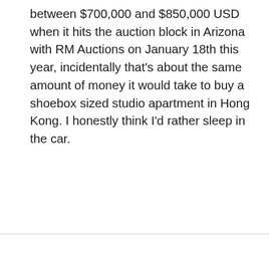between $700,000 and $850,000 USD when it hits the auction block in Arizona with RM Auctions on January 18th this year, incidentally that's about the same amount of money it would take to buy a shoebox sized studio apartment in Hong Kong. I honestly think I'd rather sleep in the car.